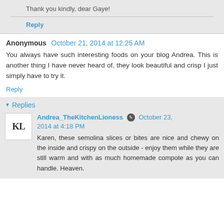Thank you kindly, dear Gaye!
Reply
Anonymous  October 21, 2014 at 12:25 AM
You always have such interesting foods on your blog Andrea. This is another thing I have never heard of, they look beautiful and crisp I just simply have to try it.
Reply
Replies
Andrea_TheKitchenLioness  October 23, 2014 at 4:18 PM
Karen, these semolina slices or bites are nice and chewy on the inside and crispy on the outside - enjoy them while they are still warm and with as much homemade compote as you can handle. Heaven.